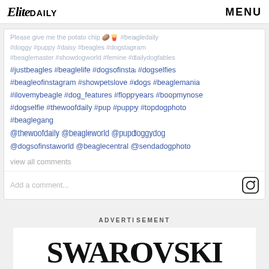Elite Daily | MENU
Please give me the potato chip 🥔🍟 #beagledaily #doggy #puppy #daisy #beagles #dogstagram #beaglemaster #showdogworld #femine #dailydogfables #justbeagles #beaglelife #dogsofinsta #dogselfies #beagleofinstagram #showpetslove #dogs #beaglemania #ilovemybeagle #dog_features #floppyears #boopmynose #dogselfie #thewoofdaily #pup #puppy #topdogphoto #beaglegang @thewoofdaily @beagleworld @pupdoggydog @dogsofinstaworld @beaglecentral @sendadogphoto
view all comments
Add a comment...
ADVERTISEMENT
[Figure (logo): Swarovski brand logo text in large serif font on white background]